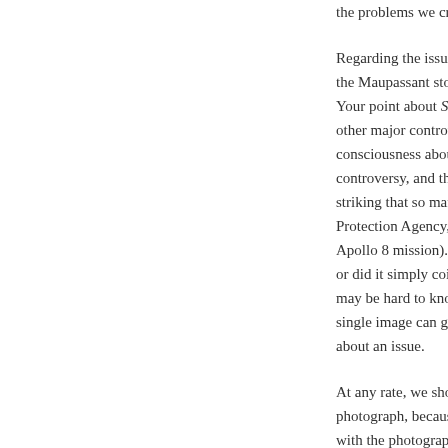the problems we create simply b

Regarding the issue of the Earth the Maupassant story so much t Your point about Silent Spring is other major controversies during consciousness about environmen controversy, and the Santa Barb striking that so many important Protection Agency, first Earth D Apollo 8 mission). Was the phot or did it simply coincide with a may be hard to know for sure, b single image can galvanize unpr about an issue.

At any rate, we should hope that photograph, because that is esse with the photographs contained